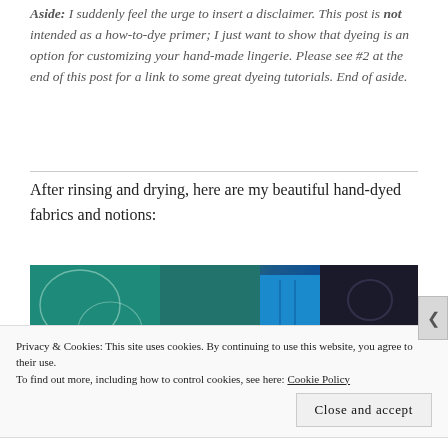Aside: I suddenly feel the urge to insert a disclaimer. This post is not intended as a how-to-dye primer; I just want to show that dyeing is an option for customizing your hand-made lingerie. Please see #2 at the end of this post for a link to some great dyeing tutorials. End of aside.
After rinsing and drying, here are my beautiful hand-dyed fabrics and notions:
[Figure (photo): Photo of hand-dyed fabrics and notions in teal, blue, and dark colors, with a white circle marked '1' in the lower left corner.]
Privacy & Cookies: This site uses cookies. By continuing to use this website, you agree to their use. To find out more, including how to control cookies, see here: Cookie Policy